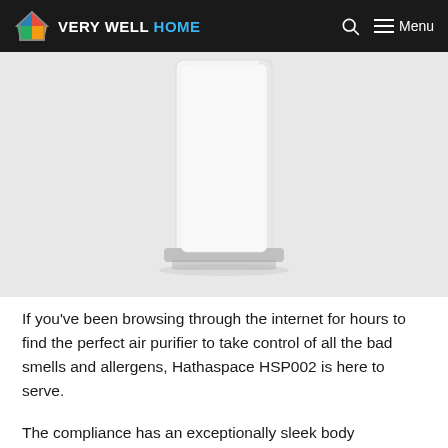VERY WELL HOME
[Figure (photo): White air purifier (Hathaspace HSP002) on white background, showing the tall rectangular device with silver base]
If you've been browsing through the internet for hours to find the perfect air purifier to take control of all the bad smells and allergens, Hathaspace HSP002 is here to serve.
The compliance has an exceptionally sleek body